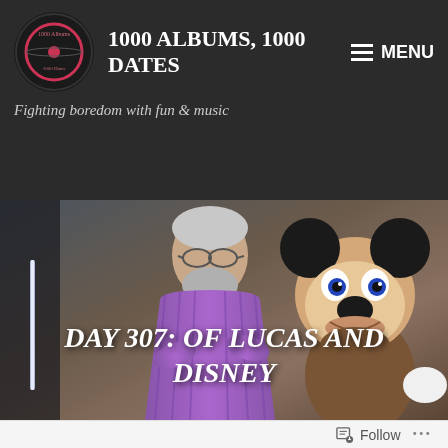1000 ALBUMS, 1000 DATES
Fighting boredom with fun & music
[Figure (photo): Photo of a man with white hair and beard wearing a purple striped shirt, standing next to a Mickey Mouse character costume. Text overlay reads: DAY 307: OF LUCAS AND DISNEY]
DAY 307: OF LUCAS AND DISNEY
Follow ...